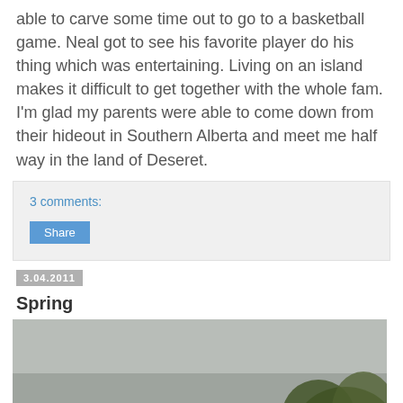able to carve some time out to go to a basketball game. Neal got to see his favorite player do his thing which was entertaining. Living on an island makes it difficult to get together with the whole fam. I'm glad my parents were able to come down from their hideout in Southern Alberta and meet me half way in the land of Deseret.
3 comments:
Share
3.04.2011
Spring
[Figure (photo): A blurry outdoor photo with a grey/foggy sky background and a dark green plant or leaves visible in the lower right corner.]